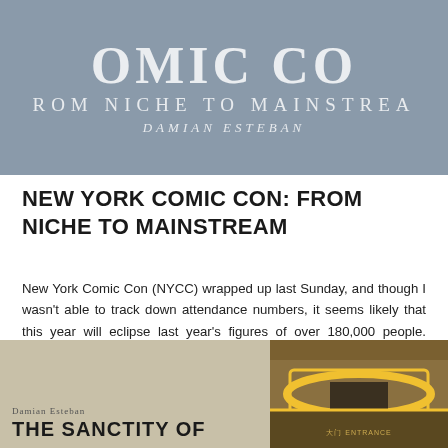[Figure (photo): Book cover for 'Comic Con: From Niche to Mainstream' by Damian Esteban, with city background imagery]
NEW YORK COMIC CON: FROM NICHE TO MAINSTREAM
New York Comic Con (NYCC) wrapped up last Sunday, and though I wasn't able to track down attendance numbers, it seems likely that this year will eclipse last year's figures of over 180,000 people. Indeed, NYCC has come a long way since its inception in 2006 where its crowd of 33,000 attendees pales in comparison to modern ...
[Figure (photo): Book cover collage: left side shows 'The Sanctity of...' book cover by Damian Esteban with beige/tan background; right side shows a building interior with yellow curved architecture.]